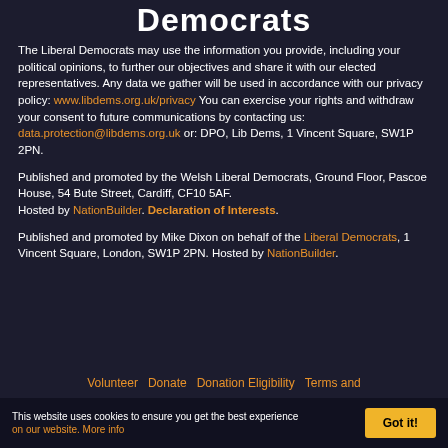Democrats
The Liberal Democrats may use the information you provide, including your political opinions, to further our objectives and share it with our elected representatives. Any data we gather will be used in accordance with our privacy policy: www.libdems.org.uk/privacy You can exercise your rights and withdraw your consent to future communications by contacting us: data.protection@libdems.org.uk or: DPO, Lib Dems, 1 Vincent Square, SW1P 2PN.
Published and promoted by the Welsh Liberal Democrats, Ground Floor, Pascoe House, 54 Bute Street, Cardiff, CF10 5AF. Hosted by NationBuilder. Declaration of Interests.
Published and promoted by Mike Dixon on behalf of the Liberal Democrats, 1 Vincent Square, London, SW1P 2PN. Hosted by NationBuilder.
Volunteer   Donate   Donation Eligibility   Terms and
This website uses cookies to ensure you get the best experience on our website. More info